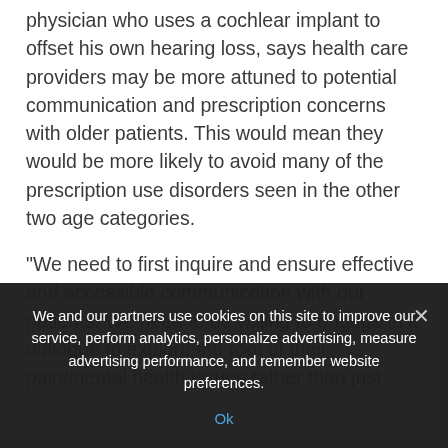physician who uses a cochlear implant to offset his own hearing loss, says health care providers may be more attuned to potential communication and prescription concerns with older patients. This would mean they would be more likely to avoid many of the prescription use disorders seen in the other two age categories.
“We need to first inquire and ensure effective and accessible communication with our patients. We need to be willing to engage in a dialogue to explore the root of their pain/mental health issues rather than just
We and our partners use cookies on this site to improve our service, perform analytics, personalize advertising, measure advertising performance, and remember website preferences.
Ok